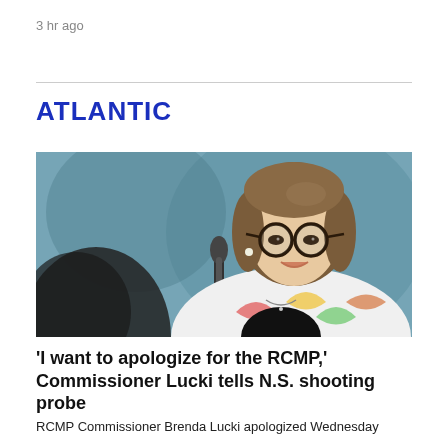3 hr ago
ATLANTIC
[Figure (photo): Woman with short brown hair and round glasses speaking at a microphone, wearing a white jacket with colorful pattern, against a teal/blue background]
'I want to apologize for the RCMP,' Commissioner Lucki tells N.S. shooting probe
RCMP Commissioner Brenda Lucki apologized Wednesday